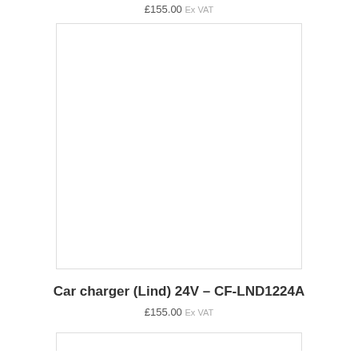£155.00 Ex VAT
[Figure (photo): Empty white product image placeholder with light gray border]
Car charger (Lind) 24V – CF-LND1224A
£155.00 Ex VAT
[Figure (photo): Bottom image placeholder, partially visible, with light gray border]